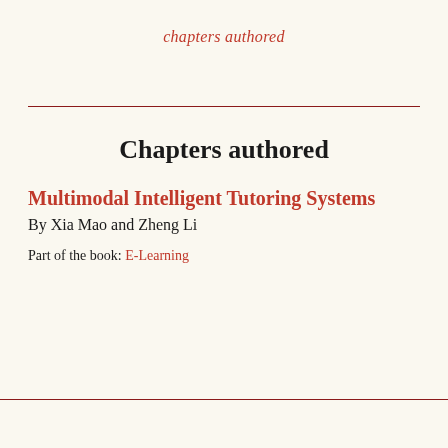chapters authored
Chapters authored
Multimodal Intelligent Tutoring Systems
By Xia Mao and Zheng Li
Part of the book: E-Learning